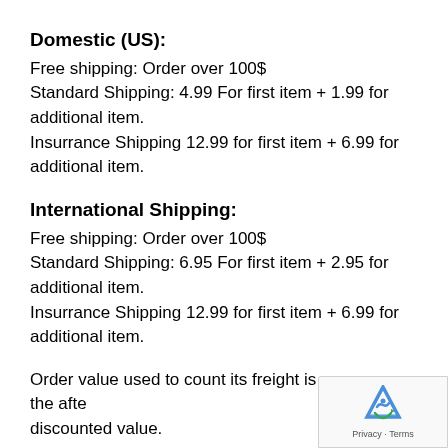Domestic (US):
Free shipping: Order over 100$
Standard Shipping: 4.99 For first item + 1.99 for additional item.
Insurrance Shipping 12.99 for first item + 6.99 for additional item.
International Shipping:
Free shipping: Order over 100$
Standard Shipping: 6.95 For first item + 2.95 for additional item.
Insurrance Shipping 12.99 for first item + 6.99 for additional item.
Order value used to count its freight is the after discounted value.